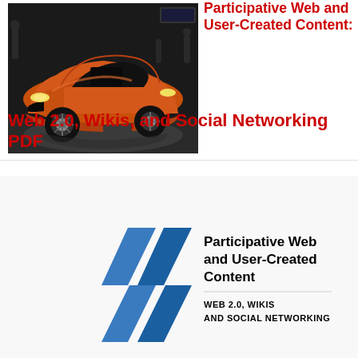[Figure (photo): Orange sports car (Jaguar F-Type SVR) on display at an auto show, shot from front-left angle against a dark background with people visible behind.]
Participative Web and User-Created Content: Web 2.0, Wikis, and Social Networking PDF
[Figure (logo): OECD logo consisting of two blue chevron/arrow shapes pointing left, beside the book title 'Participative Web and User-Created Content' with subtitle 'WEB 2.0, WIKIS AND SOCIAL NETWORKING']